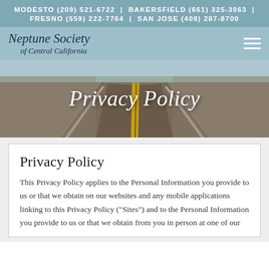MODESTO (209) 521-6722 | BAKERSFIELD (661) 325-3963 | FRESNO (559) 222-7764 | SAN JOSE (408) 287-8700
[Figure (logo): Neptune Society of Central California logo in italic script]
[Figure (photo): Aerial view of a road stretching to the horizon with yellow center lines, used as hero banner background]
Privacy Policy
Privacy Policy
This Privacy Policy applies to the Personal Information you provide to us or that we obtain on our websites and any mobile applications linking to this Privacy Policy (“Sites”) and to the Personal Information you provide to us or that we obtain from you in person at one of our